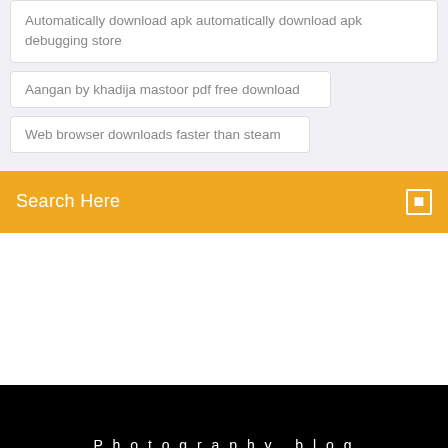Automatically download apk automatically download apk debugging store
Aangan by khadija mastoor pdf free download
Web browser downloads faster than steam
Search Here
Photography blog